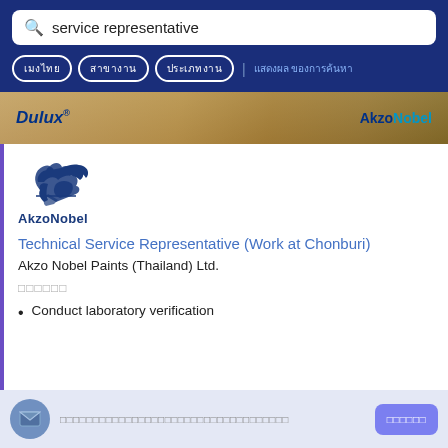service representative
[Thai filter buttons: filter options]
[Figure (screenshot): Dulux and AkzoNobel banner image with wooden floor background]
[Figure (logo): AkzoNobel logo with stylized figure and AkzoNobel wordmark]
Technical Service Representative (Work at Chonburi)
Akzo Nobel Paints (Thailand) Ltd.
[Thai text - placeholder characters]
Conduct laboratory verification
[Thai footer text with email icon and subscribe button]